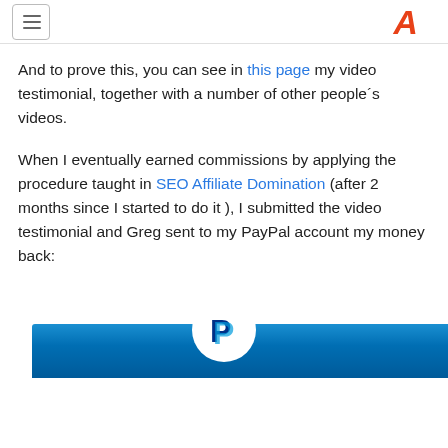[hamburger menu] [logo]
And to prove this, you can see in this page my video testimonial, together with a number of other people´s videos.
When I eventually earned commissions by applying the procedure taught in SEO Affiliate Domination (after 2 months since I started to do it ), I submitted the video testimonial and Greg sent to my PayPal account my money back:
[Figure (screenshot): PayPal logo and screenshot showing PayPal interface with blue background and white circle containing the PayPal 'P' logo]